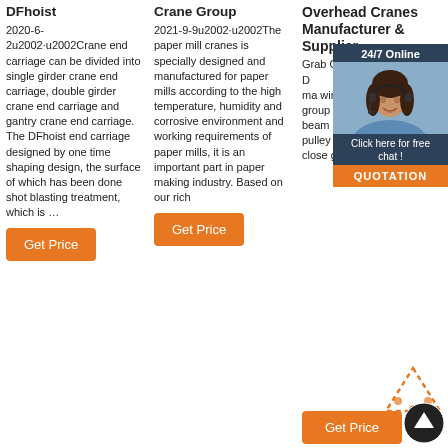DFhoist
2020-6-2u2002·u2002Crane end carriage can be divided into single girder crane end carriage, double girder crane end carriage and gantry crane end carriage. The DFhoist end carriage designed by one time shaping design, the surface of which has been done shot blasting treatment, which is …
Get Price
Crane Group
2021-9-9u2002·u2002The paper mill cranes is specially designed and manufactured for paper mills according to the high temperature, humidity and corrosive environment and working requirements of paper mills, it is an important part in paper making industry. Based on our rich
Get Price
Overhead Cranes Manufacturer & Supplier
Grab Overhead Crane Design. has two they ma wire rop the bala support group o pass the pulley a beam pulley composite a pulley block an S open and close grab the bucket.
[Figure (infographic): Chat widget showing 24/7 Online label, woman with headset photo, Click here for free chat text, and QUOTATION orange button]
Get Price